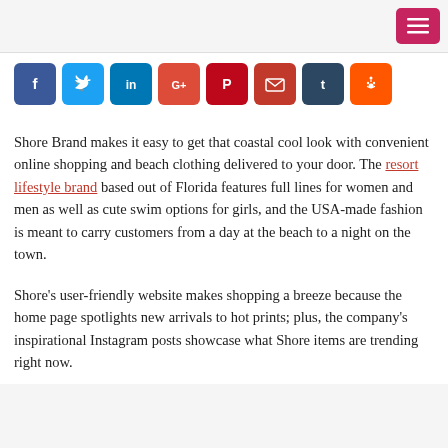[Figure (infographic): Social share buttons row: Facebook (blue), Twitter (light blue), LinkedIn (dark blue), Google+ (red), Pinterest (dark red), Email (dark red), Tumblr (dark navy), Reddit (orange)]
Shore Brand makes it easy to get that coastal cool look with convenient online shopping and beach clothing delivered to your door. The resort lifestyle brand based out of Florida features full lines for women and men as well as cute swim options for girls, and the USA-made fashion is meant to carry customers from a day at the beach to a night on the town.
Shore's user-friendly website makes shopping a breeze because the home page spotlights new arrivals to hot prints; plus, the company's inspirational Instagram posts showcase what Shore items are trending right now.